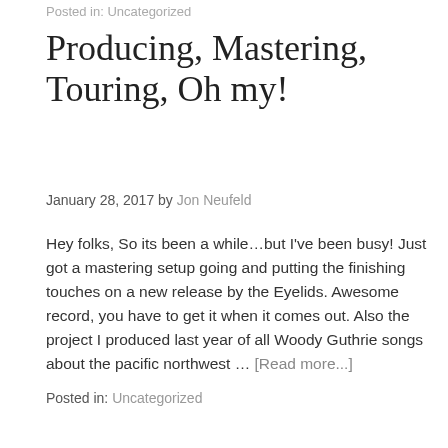Posted in: Uncategorized
Producing, Mastering, Touring, Oh my!
January 28, 2017 by Jon Neufeld
Hey folks, So its been a while...but I've been busy! Just got a mastering setup going and putting the finishing touches on a new release by the Eyelids. Awesome record, you have to get it when it comes out. Also the project I produced last year of all Woody Guthrie songs about the pacific northwest … [Read more...]
Posted in: Uncategorized